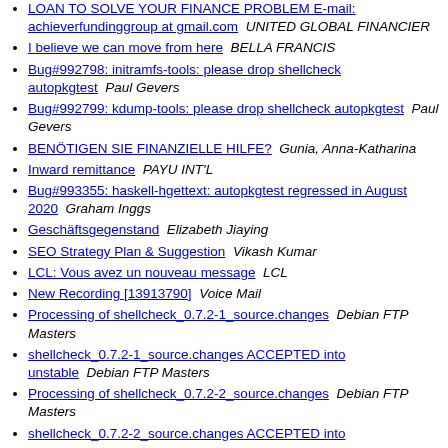LOAN TO SOLVE YOUR FINANCE PROBLEM E-mail: achieverfundinggroup at gmail.com   UNITED GLOBAL FINANCIER
I believe we can move from here   BELLA FRANCIS
Bug#992798: initramfs-tools: please drop shellcheck autopkgtest   Paul Gevers
Bug#992799: kdump-tools: please drop shellcheck autopkgtest   Paul Gevers
BENÖTIGEN SIE FINANZIELLE HILFE?   Gunia, Anna-Katharina
Inward remittance   PAYU INT'L
Bug#993355: haskell-hgettext: autopkgtest regressed in August 2020   Graham Inggs
Geschäftsgegenstand   Elizabeth Jiaying
SEO Strategy Plan & Suggestion   Vikash Kumar
LCL: Vous avez un nouveau message   LCL
New Recording [13913790]   Voice Mail
Processing of shellcheck_0.7.2-1_source.changes   Debian FTP Masters
shellcheck_0.7.2-1_source.changes ACCEPTED into unstable   Debian FTP Masters
Processing of shellcheck_0.7.2-2_source.changes   Debian FTP Masters
shellcheck_0.7.2-2_source.changes ACCEPTED into unstable   Debian FTP Masters